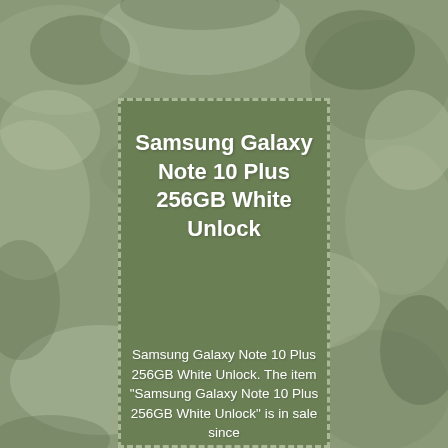[Figure (photo): Marble-textured cloudy green-grey background filling the entire page]
Samsung Galaxy Note 10 Plus 256GB White Unlock
Samsung Galaxy Note 10 Plus 256GB White Unlock. The item "Samsung Galaxy Note 10 Plus 256GB White Unlock" is in sale since